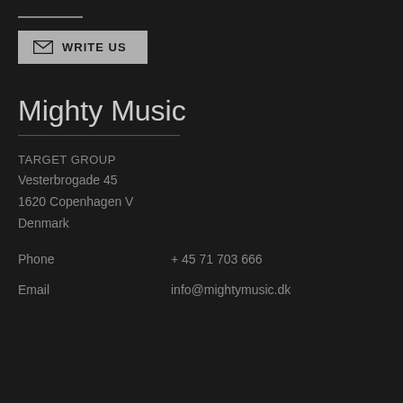[Figure (other): Decorative horizontal line and a 'WRITE US' button with envelope icon on dark background]
Mighty Music
TARGET GROUP
Vesterbrogade 45
1620 Copenhagen V
Denmark
Phone   + 45 71 703 666
Email   info@mightymusic.dk